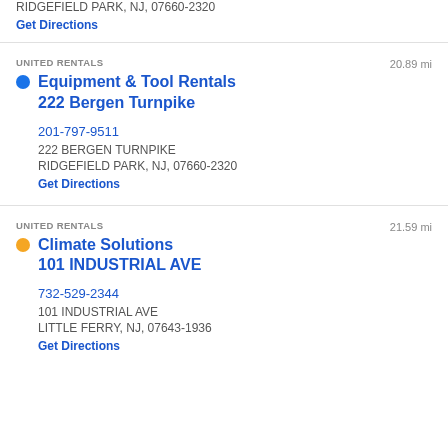RIDGEFIELD PARK, NJ, 07660-2320
Get Directions
UNITED RENTALS
20.89 mi
Equipment & Tool Rentals 222 Bergen Turnpike
201-797-9511
222 BERGEN TURNPIKE
RIDGEFIELD PARK, NJ, 07660-2320
Get Directions
UNITED RENTALS
21.59 mi
Climate Solutions 101 INDUSTRIAL AVE
732-529-2344
101 INDUSTRIAL AVE
LITTLE FERRY, NJ, 07643-1936
Get Directions